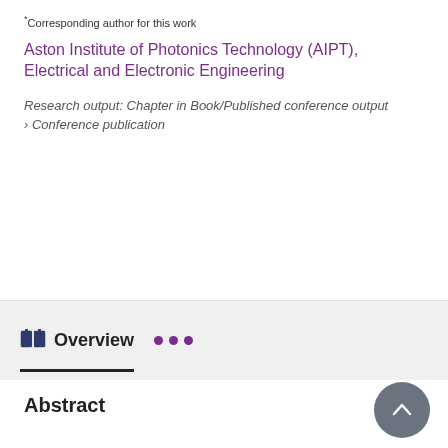*Corresponding author for this work
Aston Institute of Photonics Technology (AIPT), Electrical and Electronic Engineering
Research output: Chapter in Book/Published conference output › Conference publication
Overview
Abstract